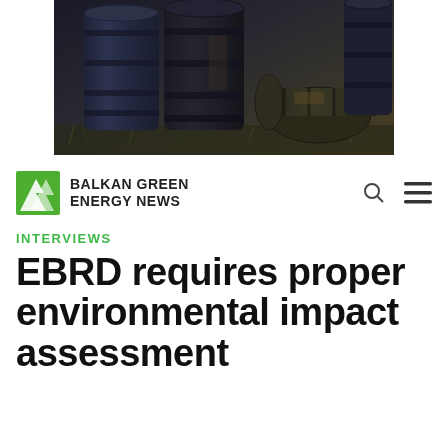[Figure (photo): Photograph of old rusty industrial oil barrels/drums stacked outdoors in grass]
BALKAN GREEN ENERGY NEWS
INTERVIEWS
EBRD requires proper environmental impact assessment